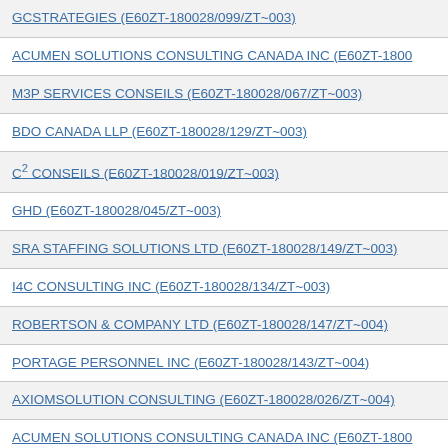GCSTRATEGIES (E60ZT-180028/099/ZT~003)
ACUMEN SOLUTIONS CONSULTING CANADA INC (E60ZT-1800…
M3P SERVICES CONSEILS (E60ZT-180028/067/ZT~003)
BDO CANADA LLP (E60ZT-180028/129/ZT~003)
C² CONSEILS (E60ZT-180028/019/ZT~003)
GHD (E60ZT-180028/045/ZT~003)
SRA STAFFING SOLUTIONS LTD (E60ZT-180028/149/ZT~003)
I4C CONSULTING INC (E60ZT-180028/134/ZT~003)
ROBERTSON & COMPANY LTD (E60ZT-180028/147/ZT~004)
PORTAGE PERSONNEL INC (E60ZT-180028/143/ZT~004)
AXIOMSOLUTION CONSULTING (E60ZT-180028/026/ZT~004)
ACUMEN SOLUTIONS CONSULTING CANADA INC (E60ZT-1800…
NR SOFT INC (E60ZT-180028/071/ZT~004)
GCSTRATEGIES (E60ZT-180028/099/ZT~004)
MNP LLP - WINNIPEG (E60ZT-180028/139/ZT~004)